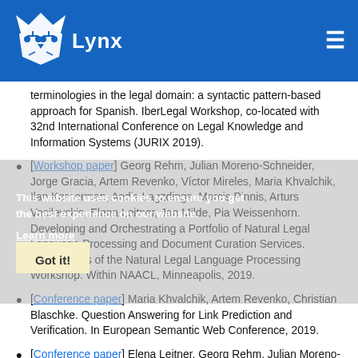Lynx [logo and navigation bar]
terminologies in the legal domain: a syntactic pattern-based approach for Spanish. IberLegal Workshop, co-located with 32nd International Conference on Legal Knowledge and Information Systems (JURIX 2019).
[Workshop paper] Georg Rehm, Julian Moreno-Schneider, Jorge Gracia, Artem Revenko, Víctor Mireles, Maria Khvalchik, Ilan Kernerman, Andis Lagzdings, Marcis Pinnis, Arturs Vasilevskis, Elena Leitner, Jan Milde, Pia Weissenhorn. Developing and Orchestrating a Portfolio of Natural Legal Language Processing and Document Curation Services. Proceedings of the Natural Legal Language Processing Workshop. Within NAACL, Minneapolis, 2019.
[Conference paper] Maria Khvalchik, Artem Revenko, Christian Blaschke. Question Answering for Link Prediction and Verification. In European Semantic Web Conference, 2019.
[Conference paper] Elena Leitner, Georg Rehm, Julian Moreno-Schneider. Fine-Grained Named Entity Recognition in Legal Documents. In International